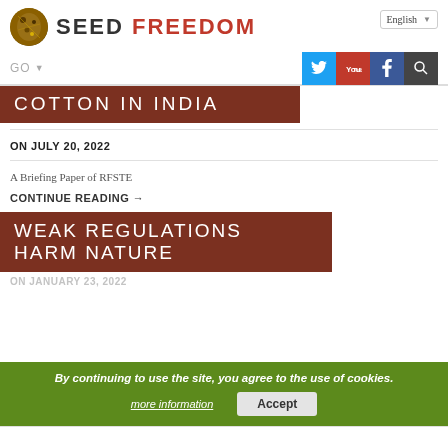[Figure (logo): Seed Freedom website logo with circular seed image and SEED FREEDOM text, with English language selector]
GO | Twitter | YouTube | Facebook | Search
COTTON IN INDIA
ON JULY 20, 2022
A Briefing Paper of RFSTE
CONTINUE READING →
WEAK REGULATIONS HARM NATURE
By continuing to use the site, you agree to the use of cookies.
more information     Accept
ON JANUARY 23, 2022